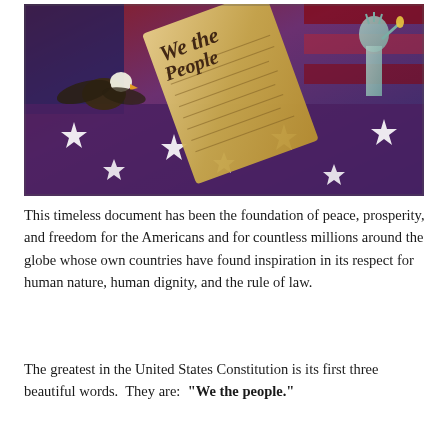[Figure (illustration): Patriotic illustration showing the U.S. Constitution with 'We the People' text, an American bald eagle, and a purple and white star-spangled American flag, with the Statue of Liberty visible in the background.]
This timeless document has been the foundation of peace, prosperity, and freedom for the Americans and for countless millions around the globe whose own countries have found inspiration in its respect for human nature, human dignity, and the rule of law.
The greatest in the United States Constitution is its first three beautiful words.  They are:  "We the people."